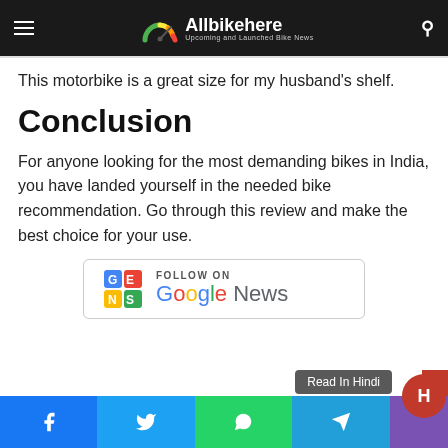Allbikehere – Upcoming and Launched Bike News
This motorbike is a great size for my husband's shelf.
Conclusion
For anyone looking for the most demanding bikes in India, you have landed yourself in the needed bike recommendation. Go through this review and make the best choice for your use.
[Figure (logo): Follow on Google News button with Google News logo]
Read In Hindi | Social share buttons: Facebook, Twitter, WhatsApp, Telegram